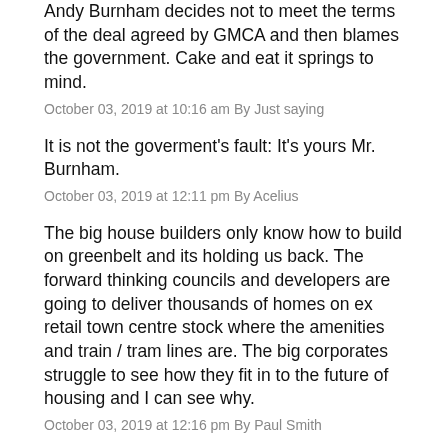Andy Burnham decides not to meet the terms of the deal agreed by GMCA and then blames the government. Cake and eat it springs to mind.
October 03, 2019 at 10:16 am By Just saying
It is not the goverment's fault: It's yours Mr. Burnham.
October 03, 2019 at 12:11 pm By Acelius
The big house builders only know how to build on greenbelt and its holding us back. The forward thinking councils and developers are going to deliver thousands of homes on ex retail town centre stock where the amenities and train / tram lines are. The big corporates struggle to see how they fit in to the future of housing and I can see why.
October 03, 2019 at 12:16 pm By Paul Smith
Burnham is more concerned about spice heads than what really matters to Manchester he loves a pointless crusade.